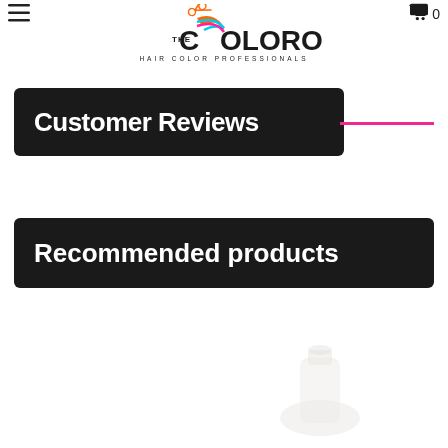[Figure (logo): The Coloroom Hair Color Professionals logo with colorful swirl design]
Customer Reviews
Recommended products
[Figure (photo): Product image partially visible at bottom right of page]